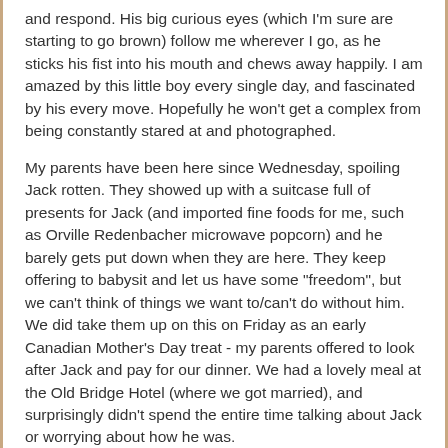and respond. His big curious eyes (which I'm sure are starting to go brown) follow me wherever I go, as he sticks his fist into his mouth and chews away happily. I am amazed by this little boy every single day, and fascinated by his every move. Hopefully he won't get a complex from being constantly stared at and photographed.
My parents have been here since Wednesday, spoiling Jack rotten. They showed up with a suitcase full of presents for Jack (and imported fine foods for me, such as Orville Redenbacher microwave popcorn) and he barely gets put down when they are here. They keep offering to babysit and let us have some "freedom", but we can't think of things we want to/can't do without him. We did take them up on this on Friday as an early Canadian Mother's Day treat - my parents offered to look after Jack and pay for our dinner. We had a lovely meal at the Old Bridge Hotel (where we got married), and surprisingly didn't spend the entire time talking about Jack or worrying about how he was.
It's strange to be without him and to be honest, I don't really feel the need to be on our own. I'm sure that eventually we